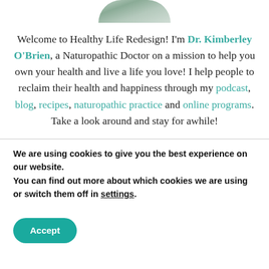[Figure (photo): Partial circular photo of a food dish, cropped at the top of the page]
Welcome to Healthy Life Redesign! I'm Dr. Kimberley O'Brien, a Naturopathic Doctor on a mission to help you own your health and live a life you love! I help people to reclaim their health and happiness through my podcast, blog, recipes, naturopathic practice and online programs. Take a look around and stay for awhile!
We are using cookies to give you the best experience on our website.
You can find out more about which cookies we are using or switch them off in settings.
Accept